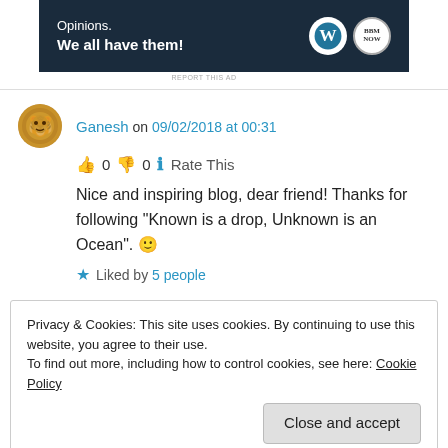[Figure (illustration): WordPress advertisement banner: dark navy background, text 'Opinions. We all have them!' with WordPress and BBM logos on the right.]
REPORT THIS AD
Ganesh on 09/02/2018 at 00:31
👍 0 👎 0 ℹ Rate This
Nice and inspiring blog, dear friend! Thanks for following "Known is a drop, Unknown is an Ocean". 🙂
★ Liked by 5 people
Privacy & Cookies: This site uses cookies. By continuing to use this website, you agree to their use.
To find out more, including how to control cookies, see here: Cookie Policy
Close and accept